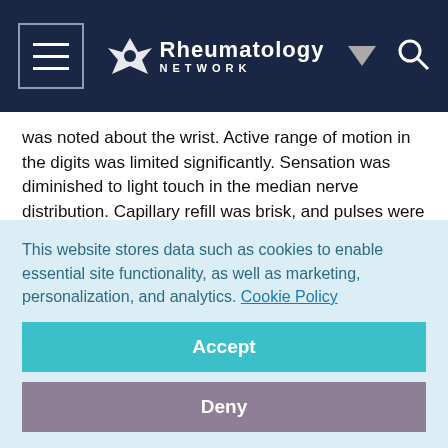Rheumatology Network
was noted about the wrist. Active range of motion in the digits was limited significantly. Sensation was diminished to light touch in the median nerve distribution. Capillary refill was brisk, and pulses were palpable in the radial and ulnar arteries.
The original radiographs obtained in the ED were reviewed (Figure 1), and a transscaphoid perilunate fracture dislocation (a scaphoid fracture combined with the perilunate injury) was noted. The patient was scheduled for surgery that day.
This website stores data such as cookies to enable essential site functionality, as well as marketing, personalization, and analytics. Cookie Policy
Accept
Deny